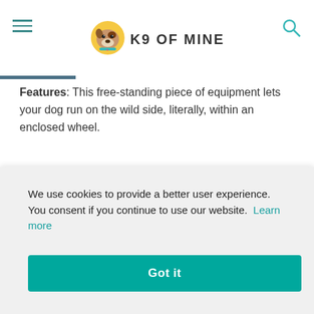K9 OF MINE
Features: This free-standing piece of equipment lets your dog run on the wild side, literally, within an enclosed wheel.
There’s a door included that allows your pup to use it as he pleases, and the comfort mat base protects his paws while he chases his dreams in the wheel.
We use cookies to provide a better user experience. You consent if you continue to use our website. Learn more
Got it